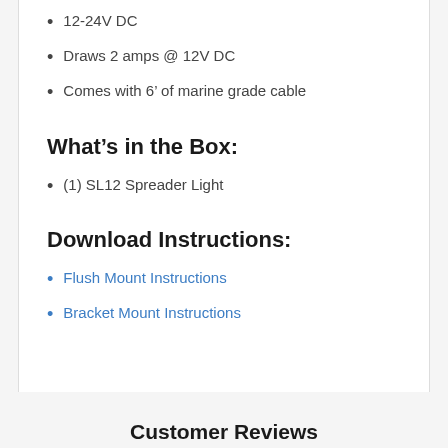12-24V DC
Draws 2 amps @ 12V DC
Comes with 6’ of marine grade cable
What’s in the Box:
(1) SL12 Spreader Light
Download Instructions:
Flush Mount Instructions
Bracket Mount Instructions
Customer Reviews